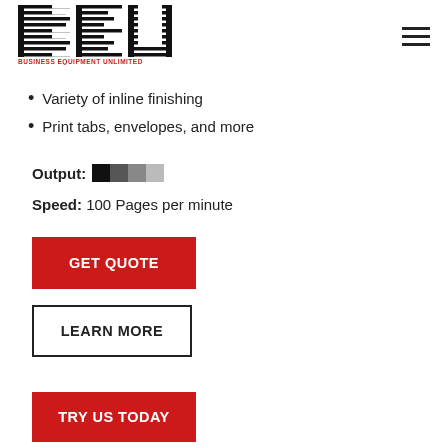[Figure (logo): BEU Business Equipment Unlimited logo with striped block letters]
Variety of inline finishing
Print tabs, envelopes, and more
Output: [color swatch]
Speed: 100 Pages per minute
GET QUOTE
LEARN MORE
TRY US TODAY